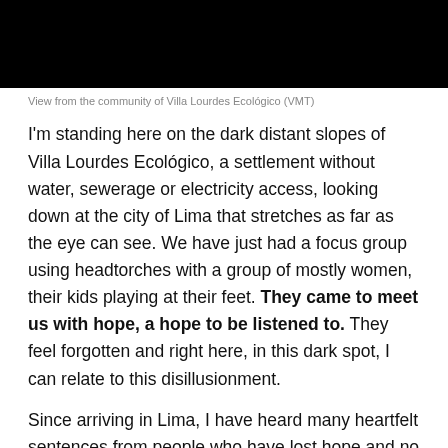[Figure (photo): Black rectangular photo block showing a dark nighttime view from the community of Villa Lourdes Ecológico (VMT)]
View from the community of Villa Lourdes Ecológico (VMT)
I'm standing here on the dark distant slopes of Villa Lourdes Ecológico, a settlement without water, sewerage or electricity access, looking down at the city of Lima that stretches as far as the eye can see. We have just had a focus group using headtorches with a group of mostly women, their kids playing at their feet. They came to meet us with hope, a hope to be listened to. They feel forgotten and right here, in this dark spot, I can relate to this disillusionment.
Since arriving in Lima, I have heard many heartfelt sentences from people who have lost hope and no longer believe in the transformative change we came